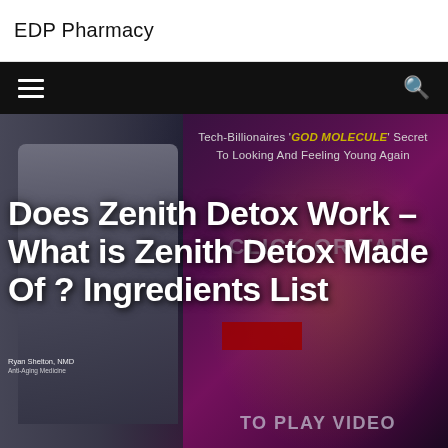EDP Pharmacy
[Figure (screenshot): Website navigation bar with hamburger menu icon on left and search icon on right, black background]
[Figure (photo): Hero image showing a doctor (Ryan Shelton, NMD) on the left side with a video thumbnail on the right. The video thumbnail shows a purple/magenta background with sparkle effects and text: 'Tech-Billionaires GOD MOLECULE Secret To Looking And Feeling Young Again', 'CLICK OR TAP', and 'TO PLAY VIDEO'. Overlaid on the entire hero image is the article title in large bold white text.]
Does Zenith Detox Work – What is Zenith Detox Made Of ? Ingredients List